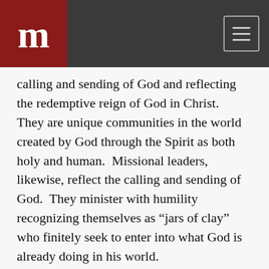m
calling and sending of God and reflecting the redemptive reign of God in Christ.  They are unique communities in the world created by God through the Spirit as both holy and human.  Missional leaders, likewise, reflect the calling and sending of God.  They minister with humility recognizing themselves as “jars of clay” who finitely seek to enter into what God is already doing in his world.
The missional approach to ministry stands in obvious contrast to the traditional Church Growth perspective.  Church Growth thinking has brought much to the practice of foreign and domestic missions.  Donald McGavran, the father of Church Growth, encouraged